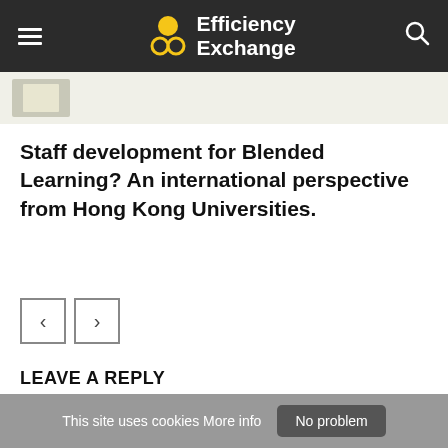Efficiency Exchange
[Figure (thumbnail): Small thumbnail image with beige/grey tones]
Staff development for Blended Learning? An international perspective from Hong Kong Universities.
[Figure (infographic): Previous and Next navigation arrow buttons]
LEAVE A REPLY
Comment: